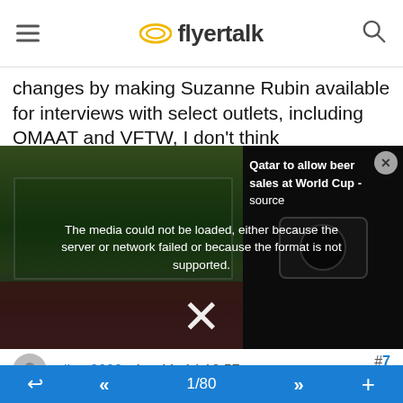flyertalk
changes by making Suzanne Rubin available for interviews with select outlets, including OMAAT and VFTW, I don't think
[Figure (screenshot): Video player showing a stadium scene with error overlay: 'The media could not be loaded, either because the server or network failed or because the format is not supported.' Side info: 'Qatar to allow beer sales at World Cup - source'. Large X close symbol at bottom center.]
#7
oliver2002 , Apr 11, 14 12:57 am
Moderator: Lufthansa Miles & More, India based airlines, India, External Miles & Points Resources
US & AA have been carefully preparing a plan so this merger doesn't look like the NW/DL or UA/CO fiasco. AA was very good at charming the frustrated CO/UA refugees, but the
1/80